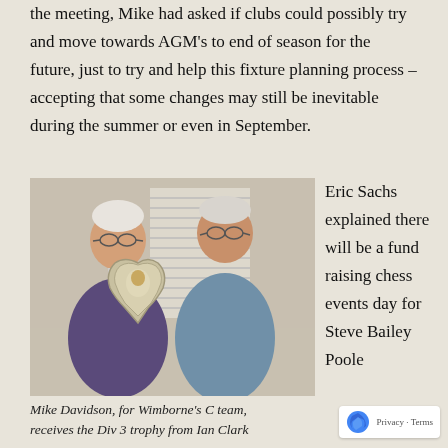the meeting, Mike had asked if clubs could possibly try and move towards AGM's to end of season for the future, just to try and help this fixture planning process – accepting that some changes may still be inevitable during the summer or even in September.
[Figure (photo): Two older men posing together, one holding a shield trophy. Taken in an office/meeting room setting with window blinds in background.]
Mike Davidson, for Wimborne's C team, receives the Div 3 trophy from Ian Clark
Eric Sachs explained there will be a fund raising chess events day for Steve Bailey Poole